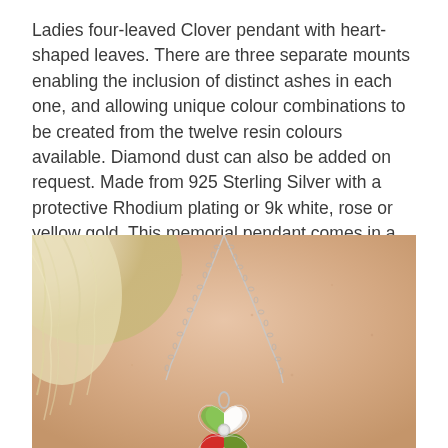Ladies four-leaved Clover pendant with heart-shaped leaves. There are three separate mounts enabling the inclusion of distinct ashes in each one, and allowing unique colour combinations to be created from the twelve resin colours available. Diamond dust can also be added on request. Made from 925 Sterling Silver with a protective Rhodium plating or 9k white, rose or yellow gold. This memorial pendant comes in a gift-wrapped box.
[Figure (photo): Close-up photo of a woman's neckline wearing a silver chain necklace with a four-leaved clover pendant featuring heart-shaped leaves with coloured resin inlays (green, white, red visible). The background shows skin and blonde hair.]